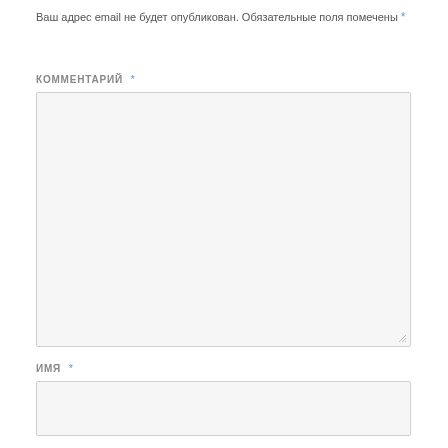Ваш адрес email не будет опубликован. Обязательные поля помечены *
КОММЕНТАРИЙ *
[Figure (other): Large textarea input box for comment entry]
ИМЯ *
[Figure (other): Single-line text input box for name entry]